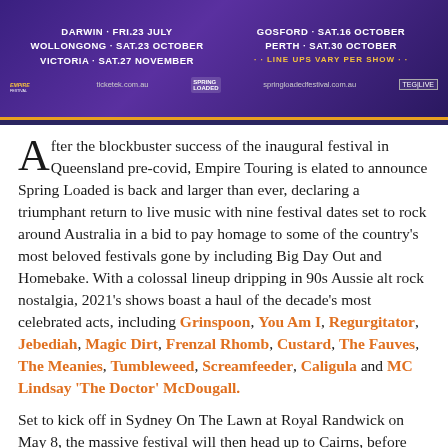[Figure (infographic): Spring Loaded festival banner showing tour dates: Darwin Fri.23 July, Gosford Sat.16 October, Wollongong Sat.23 October, Perth Sat.30 October, Victoria Sat.27 November, with LINE UPS VARY PER SHOW notice. Logos: Empire Festival, ticketek.com.au, springloadedfestival.com.au, TEG Live.]
After the blockbuster success of the inaugural festival in Queensland pre-covid, Empire Touring is elated to announce Spring Loaded is back and larger than ever, declaring a triumphant return to live music with nine festival dates set to rock around Australia in a bid to pay homage to some of the country's most beloved festivals gone by including Big Day Out and Homebake. With a colossal lineup dripping in 90s Aussie alt rock nostalgia, 2021's shows boast a haul of the decade's most celebrated acts, including Grinspoon, You Am I, Regurgitator, Jebediah, Magic Dirt, Frenzal Rhomb, Custard, The Fauves, The Meanies, Tumbleweed, Screamfeeder, Caligula and MC Lindsay 'The Doctor' McDougall.
Set to kick off in Sydney On The Lawn at Royal Randwick on May 8, the massive festival will then head up to Cairns, before moving on to Sandstone Point Hotel Bribie Island, Adelaide Entertainment...